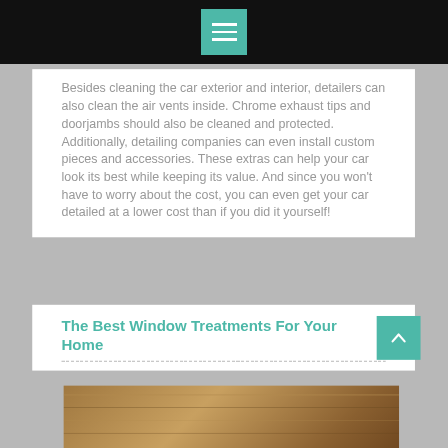Besides cleaning the car exterior and interior, detailers can also clean the air vents inside. Chrome exhaust tips and doorjambs should also be cleaned and protected. Additionally, detailing companies can even install custom pieces and accessories. These extras can help your car look its best while keeping its value. And since you won't have to worry about the cost, you can even get your car detailed at a lower cost than if you did it yourself!
The Best Window Treatments For Your Home
[Figure (photo): Partial view of a wooden window treatment or blind, photographed close-up]